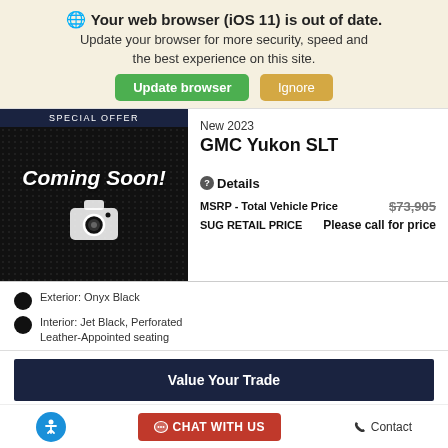Your web browser (iOS 11) is out of date. Update your browser for more security, speed and the best experience on this site.
[Figure (screenshot): Coming Soon! placeholder image with camera icon on black background, labeled SPECIAL OFFER]
New 2023
GMC Yukon SLT
Details
| Label | Value |
| --- | --- |
| MSRP - Total Vehicle Price | $73,905 |
| SUG RETAIL PRICE | Please call for price |
Exterior: Onyx Black
Interior: Jet Black, Perforated Leather-Appointed seating
Value Your Trade
Contact | Chat With Us